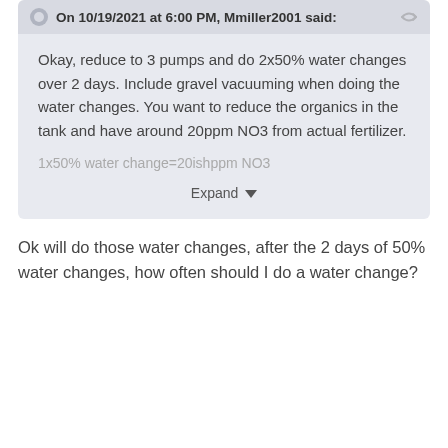On 10/19/2021 at 6:00 PM, Mmiller2001 said:
Okay, reduce to 3 pumps and do 2x50% water changes over 2 days. Include gravel vacuuming when doing the water changes. You want to reduce the organics in the tank and have around 20ppm NO3 from actual fertilizer.
1x50% water change=20ishppm NO3
Expand
Ok will do those water changes, after the 2 days of 50% water changes, how often should I do a water change?